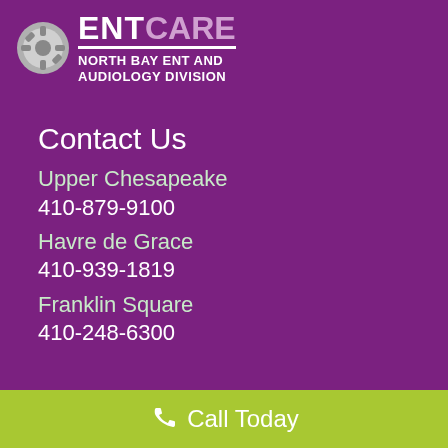[Figure (logo): ENTCare North Bay ENT and Audiology Division logo with gear icon]
NORTH BAY ENT AND AUDIOLOGY DIVISION
Contact Us
Upper Chesapeake
410-879-9100
Havre de Grace
410-939-1819
Franklin Square
410-248-6300
Call Today